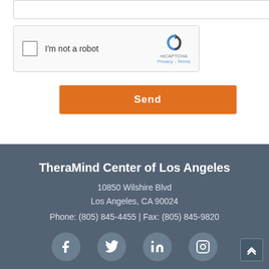[Figure (screenshot): reCAPTCHA widget with checkbox labeled 'I'm not a robot' and reCAPTCHA logo with Privacy and Terms links]
Send
TheraMind Center of Los Angeles
10850 Wilshire Blvd
Los Angeles, CA 90024
Phone: (805) 845-4455 | Fax: (805) 845-9820
[Figure (infographic): Social media icons: Facebook, Twitter, LinkedIn, Instagram in gray circles]